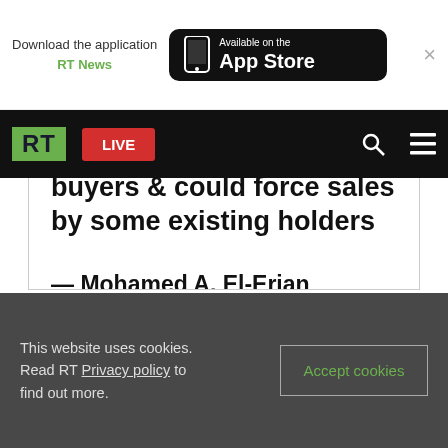Download the application RT News — Available on the App Store
buyers & could force sales by some existing holders
— Mohamed A. El-Erian (@elerianm) January 26, 2015
This website uses cookies. Read RT Privacy policy to find out more. Accept cookies